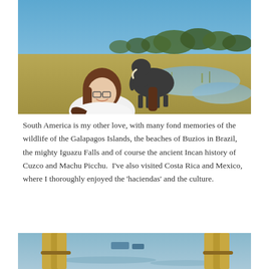[Figure (photo): A woman with glasses and brown hair smiling at the camera, with an elephant grazing in the background near a wetland/marsh area under a blue sky with scattered trees on the horizon.]
South America is my other love, with many fond memories of the wildlife of the Galapagos Islands, the beaches of Buzios in Brazil, the mighty Iguazu Falls and of course the ancient Incan history of Cuzco and Machu Picchu. I've also visited Costa Rica and Mexico, where I thoroughly enjoyed the 'haciendas' and the culture.
[Figure (photo): Partial view of a water scene with reed bundles or totora reeds tied together, appearing to be floating reed structures on a lake, with boats visible in the background.]